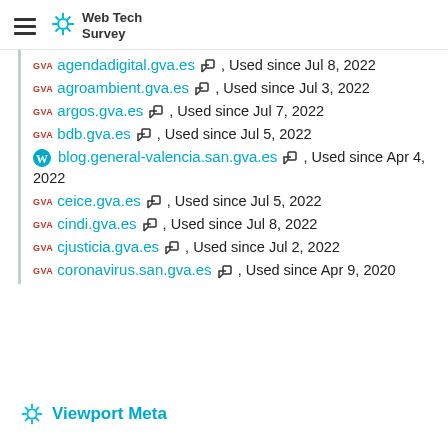Web Tech Survey
GVA agendadigital.gva.es, Used since Jul 8, 2022
GVA agroambient.gva.es, Used since Jul 3, 2022
GVA argos.gva.es, Used since Jul 7, 2022
GVA bdb.gva.es, Used since Jul 5, 2022
WP blog.general-valencia.san.gva.es, Used since Apr 4, 2022
GVA ceice.gva.es, Used since Jul 5, 2022
GVA cindi.gva.es, Used since Jul 8, 2022
GVA cjusticia.gva.es, Used since Jul 2, 2022
GVA coronavirus.san.gva.es, Used since Apr 9, 2020
Viewport Meta